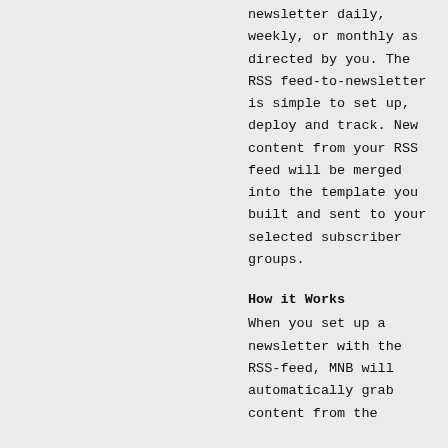newsletter daily, weekly, or monthly as directed by you. The RSS feed-to-newsletter is simple to set up, deploy and track. New content from your RSS feed will be merged into the template you built and sent to your selected subscriber groups.
How it Works
When you set up a newsletter with the RSS-feed, MNB will automatically grab content from the